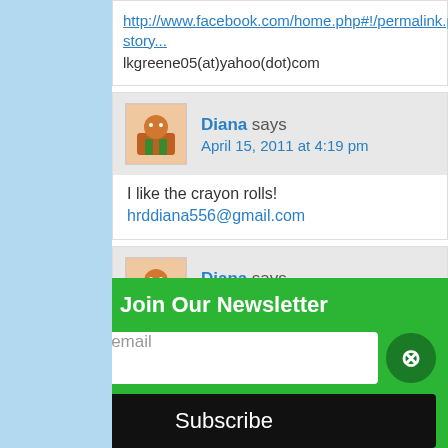http://www.facebook.com/home.php#!/permalink.php?story...
lkgreene05(at)yahoo(dot)com
Diana says
April 15, 2011 at 4:19 pm
I like the crayon rolls!
hrddiana556@gmail.com
Diana says
April 15, 2011 at 4:19 pm
I follow on gFC
brddiana556@gmail.com
Join Our Newsletter
Enter your email
Subscribe